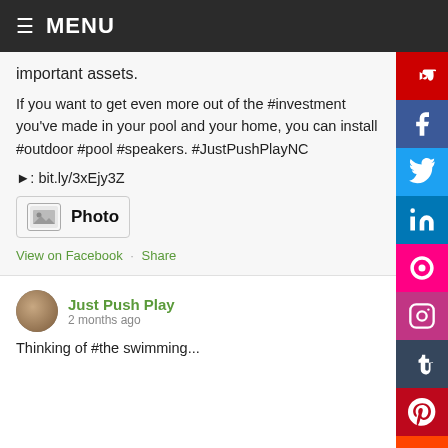≡ MENU
important assets.
If you want to get even more out of the #investment you've made in your pool and your home, you can install #outdoor #pool #speakers. #JustPushPlayNC
▶: bit.ly/3xEjy3Z
[Figure (other): Photo icon button with image placeholder icon]
View on Facebook · Share
Just Push Play
2 months ago
Thinking of #the swimming...